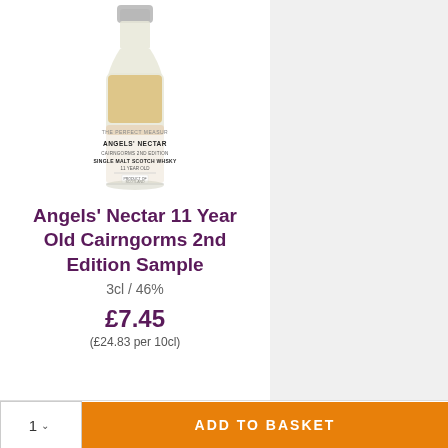[Figure (photo): Small sample bottle of Angels' Nectar 11 Year Old Cairngorms 2nd Edition Single Malt Scotch Whisky, 3cl, with white label showing product name, edition, and 'Product of Scotland']
Angels' Nectar 11 Year Old Cairngorms 2nd Edition Sample
3cl / 46%
£7.45
(£24.83 per 10cl)
1 ∨  ADD TO BASKET